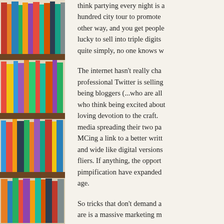[Figure (photo): Photograph of colorful books arranged on multiple wooden bookshelves, filling the left column of the page.]
think partying every night is a hundred city tour to promote other way, and you get people lucky to sell into triple digits quite simply, no one knows w
The internet hasn't really cha professional Twitter is selling being bloggers (...who are all who think being excited about loving devotion to the craft. media spreading their two pa MCing a link to a better writ and wide like digital versions fliers. If anything, the oppor pimpification have expanded age.
So tricks that don't demand a are is a massive marketing m